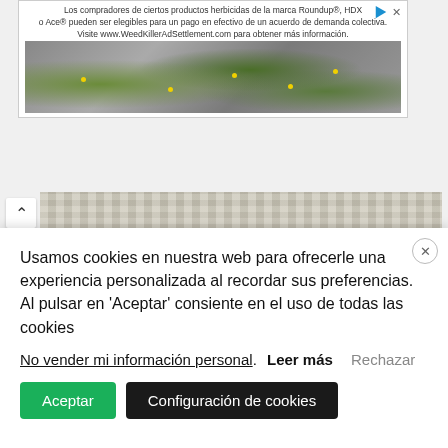[Figure (screenshot): Advertisement banner for Roundup/HDX/Ace herbicide products class action settlement in Spanish, with a garden/stone path background image showing yellow flowers and greenery]
[Figure (photo): Close-up photograph of cream/beige chunky knit fabric/textile on a wooden surface, with a black bar at the bottom]
Usamos cookies en nuestra web para ofrecerle una experiencia personalizada al recordar sus preferencias. Al pulsar en 'Aceptar' consiente en el uso de todas las cookies
No vender mi información personal. Leer más Rechazar
Aceptar  Configuración de cookies